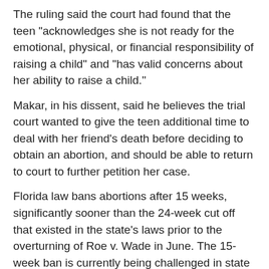The ruling said the court had found that the teen "acknowledges she is not ready for the emotional, physical, or financial responsibility of raising a child" and "has valid concerns about her ability to raise a child."
Makar, in his dissent, said he believes the trial court wanted to give the teen additional time to deal with her friend's death before deciding to obtain an abortion, and should be able to return to court to further petition her case.
Florida law bans abortions after 15 weeks, significantly sooner than the 24-week cut off that existed in the state's laws prior to the overturning of Roe v. Wade in June. The 15-week ban is currently being challenged in state courts.
In the state's "Parental Notice of and Consent for Abortion Act," physicians must get written consent from a parent or legal guardian before performing an